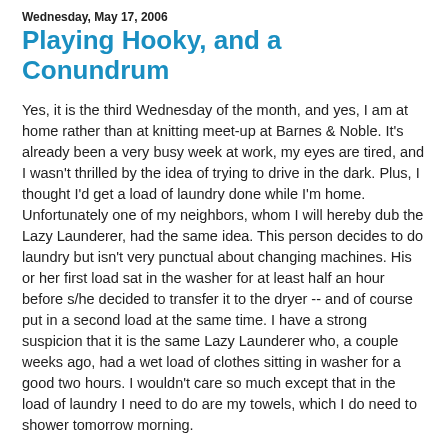Wednesday, May 17, 2006
Playing Hooky, and a Conundrum
Yes, it is the third Wednesday of the month, and yes, I am at home rather than at knitting meet-up at Barnes & Noble. It's already been a very busy week at work, my eyes are tired, and I wasn't thrilled by the idea of trying to drive in the dark. Plus, I thought I'd get a load of laundry done while I'm home. Unfortunately one of my neighbors, whom I will hereby dub the Lazy Launderer, had the same idea. This person decides to do laundry but isn't very punctual about changing machines. His or her first load sat in the washer for at least half an hour before s/he decided to transfer it to the dryer -- and of course put in a second load at the same time. I have a strong suspicion that it is the same Lazy Launderer who, a couple weeks ago, had a wet load of clothes sitting in washer for a good two hours. I wouldn't care so much except that in the load of laundry I need to do are my towels, which I do need to shower tomorrow morning.
The laundry issue is not the aforementioned conundrum, however. Remember how I was going to knit a sweater, like,